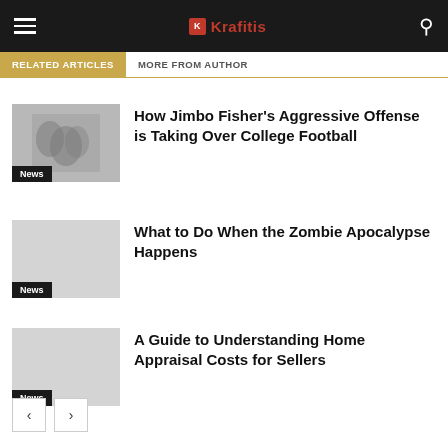Krafitis
RELATED ARTICLES | MORE FROM AUTHOR
How Jimbo Fisher's Aggressive Offense is Taking Over College Football
News
What to Do When the Zombie Apocalypse Happens
News
A Guide to Understanding Home Appraisal Costs for Sellers
News